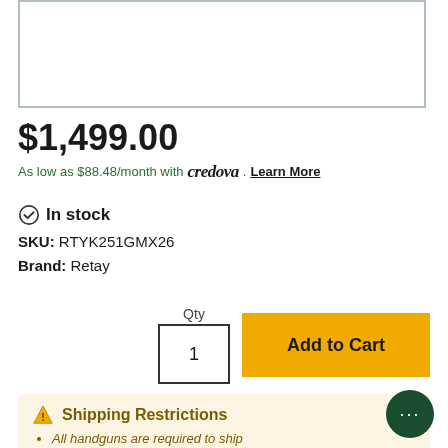[Figure (photo): Product image placeholder box with grey border]
$1,499.00
As low as $88.48/month with credova . Learn More
✓ In stock
SKU: RTYK251GMX26
Brand: Retay
Qty  1  Add to Cart
⚠ Shipping Restrictions
All handguns are required to ship Next Day Air or UPS 2nd Day Air to an